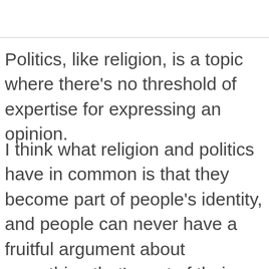Politics, like religion, is a topic where there's no threshold of expertise for expressing an opinion.
I think what religion and politics have in common is that they become part of people's identity, and people can never have a fruitful argument about something that's part of their identity. By definition they're partisan.